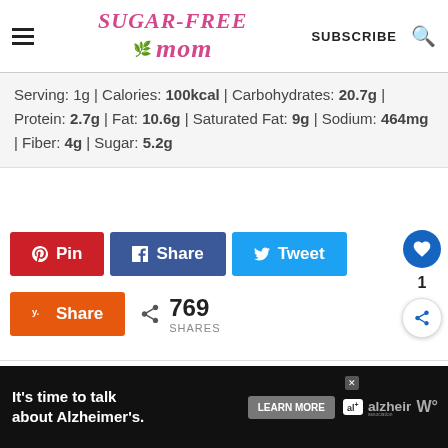Sugar-Free Mom — SUBSCRIBE [search icon]
Serving: 1g | Calories: 100kcal | Carbohydrates: 20.7g | Protein: 2.7g | Fat: 10.6g | Saturated Fat: 9g | Sodium: 464mg | Fiber: 4g | Sugar: 5.2g
Pin | Share | Tweet | Share | 769 SHARES
[Figure (screenshot): Ad banner: It's time to talk about Alzheimer's. Learn More button. Alzheimer's Association logo. WW logo.]